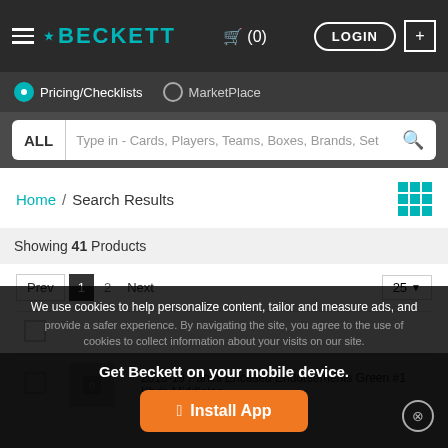BECKETT
Pricing/Checklists   MarketPlace
ALL   Type in - Cards, Players, Teams, Boxes, Brands, Set
Home / Search Results
Showing 41 Products
Prev  1  2  Next   25
2018-19 Panini Encased Endorsements Green #1 Khris Middleton
We use cookies to help personalize content, tailor and measure ads, and provide a safer experience. By navigating the site, you agree to the use of cookies to collect information about your visits on our site.
Get Beckett on your mobile device.
Install App